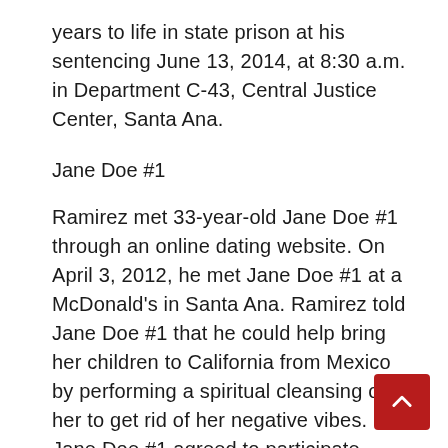years to life in state prison at his sentencing June 13, 2014, at 8:30 a.m. in Department C-43, Central Justice Center, Santa Ana.
Jane Doe #1
Ramirez met 33-year-old Jane Doe #1 through an online dating website. On April 3, 2012, he met Jane Doe #1 at a McDonald's in Santa Ana. Ramirez told Jane Doe #1 that he could help bring her children to California from Mexico by performing a spiritual cleansing on her to get rid of her negative vibes. Jane Doe #1 agreed to participate.